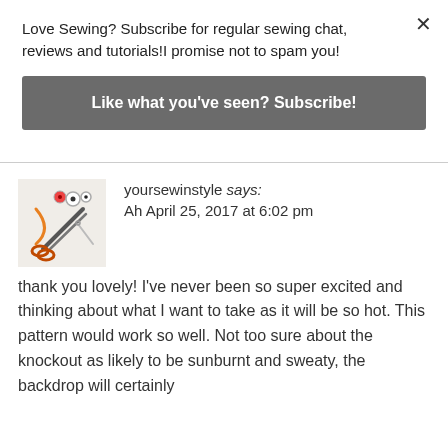Love Sewing? Subscribe for regular sewing chat, reviews and tutorials!I promise not to spam you!
Like what you've seen? Subscribe!
yoursewinstyle says:
Ah April 25, 2017 at 6:02 pm
[Figure (photo): Avatar image showing sewing tools including scissors, buttons, and needles on a white surface]
thank you lovely! I've never been so super excited and thinking about what I want to take as it will be so hot. This pattern would work so well. Not too sure about the knockout as likely to be sunburnt and sweaty, the backdrop will certainly